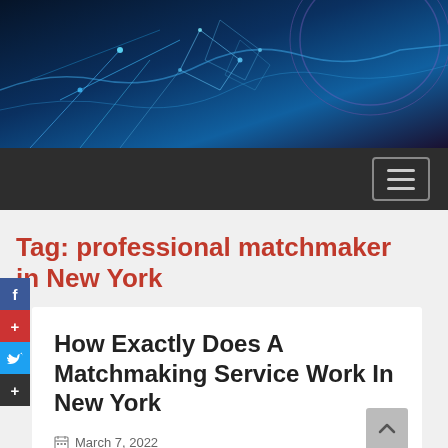[Figure (illustration): Abstract blue digital network banner with geometric shapes and glowing lines on dark blue background]
Navigation bar with hamburger menu button
Tag: professional matchmaker in New York
How Exactly Does A Matchmaking Service Work In New York
March 7, 2022